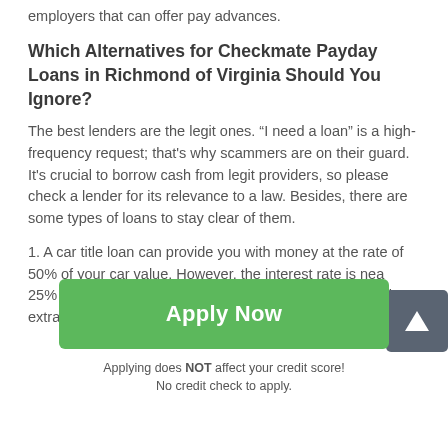employers that can offer pay advances.
Which Alternatives for Checkmate Payday Loans in Richmond of Virginia Should You Ignore?
The best lenders are the legit ones. “I need a loan” is a high-frequency request; that's why scammers are on their guard. It's crucial to borrow cash from legit providers, so please check a lender for its relevance to a law. Besides, there are some types of loans to stay clear of them.
1. A car title loan can provide you with money at the rate of 50% of your car value. However, the interest rate is nearly 25% per month. The opportunity to roll this loan over makes extra payments even more significant – up to $800
[Figure (other): Scroll-to-top button: dark grey square with white upward arrow]
Apply Now
Applying does NOT affect your credit score!
No credit check to apply.